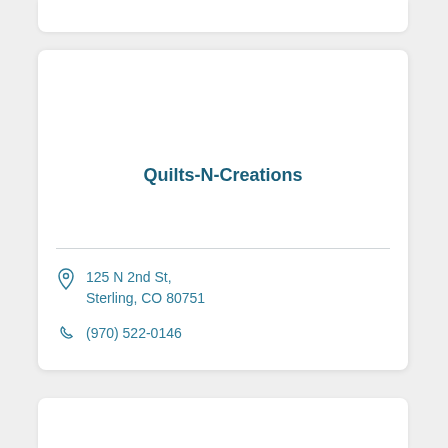Quilts-N-Creations
125 N 2nd St, Sterling, CO 80751
(970) 522-0146